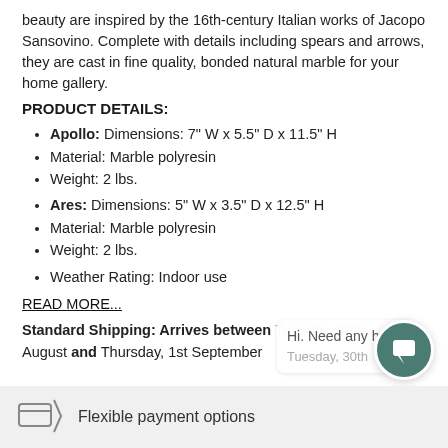beauty are inspired by the 16th-century Italian works of Jacopo Sansovino. Complete with details including spears and arrows, they are cast in fine quality, bonded natural marble for your home gallery.
PRODUCT DETAILS:
Apollo: Dimensions: 7" W x 5.5" D x 11.5" H
Material: Marble polyresin
Weight: 2 lbs.
Ares: Dimensions: 5" W x 3.5" D x 12.5" H
Material: Marble polyresin
Weight: 2 lbs.
Weather Rating: Indoor use
READ MORE...
Standard Shipping: Arrives between Tuesday, 30th August and Thursday, 1st September
Flexible payment options